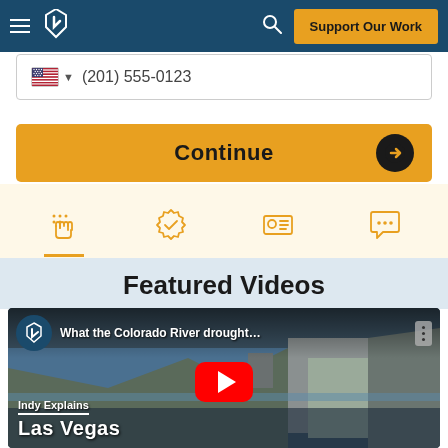[Figure (screenshot): Website navigation bar with hamburger menu, logo icon, search icon, and 'Support Our Work' button on dark blue background]
[Figure (screenshot): Phone number input field showing US flag, dropdown arrow, and phone number (201) 555-0123]
[Figure (screenshot): Orange 'Continue' button with dark circular arrow icon on right side]
[Figure (screenshot): Light yellow icon row showing four outline icons: hand with dots, badge checkmark, ID card, and speech bubble with dots. First icon has orange underline.]
Featured Videos
[Figure (screenshot): YouTube video thumbnail showing 'What the Colorado River drought...' with Hoover Dam/Las Vegas scene, Indy Explains branding, red YouTube play button overlay]